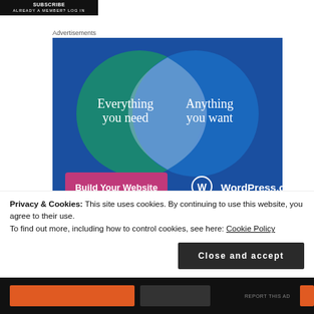[Figure (screenshot): Dark banner at top left with white text, partially visible, appears to be a website header or logo area.]
Advertisements
[Figure (illustration): WordPress.com advertisement banner showing a Venn diagram with two overlapping circles on a blue background. Left circle (teal/green) says 'Everything you need', right circle (blue) says 'Anything you want'. A pink 'Build Your Website' button appears at the bottom left, and the WordPress.com logo at bottom right.]
REPORT THIS AD
Privacy & Cookies: This site uses cookies. By continuing to use this website, you agree to their use.
To find out more, including how to control cookies, see here: Cookie Policy
Close and accept